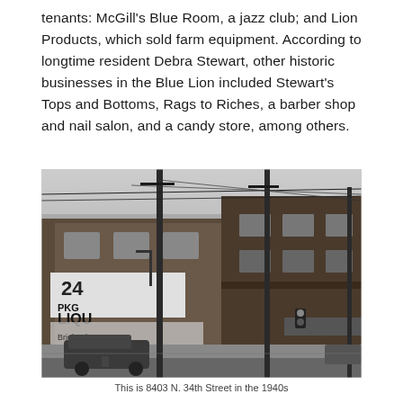tenants: McGill's Blue Room, a jazz club; and Lion Products, which sold farm equipment. According to longtime resident Debra Stewart, other historic businesses in the Blue Lion included Stewart's Tops and Bottoms, Rags to Riches, a barber shop and nail salon, and a candy store, among others.
[Figure (photo): Black and white historical photograph of a street corner showing a brick commercial building. A liquor store sign reading 'PKG LIQUOR' and '24' is visible on the left. Utility poles with wires are prominent. Old cars from approximately the 1940s-1950s are parked on the street. A sign reading 'Brighton' is partially visible in a storefront window.]
This is 8403 N. 34th Street in the 1940s